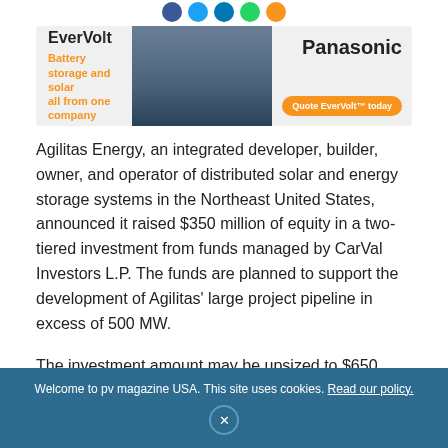[Figure (illustration): Social media sharing icons (Facebook, Twitter, LinkedIn, WhatsApp, orange share) in circular colored buttons]
[Figure (illustration): EverVolt by Panasonic advertisement banner: 'Battery storage and solar all from one company', with building image and 'Quote EverVolt today' CTA button]
Agilitas Energy, an integrated developer, builder, owner, and operator of distributed solar and energy storage systems in the Northeast United States, announced it raised $350 million of equity in a two-tiered investment from funds managed by CarVal Investors L.P. The funds are planned to support the development of Agilitas' large project pipeline in excess of 500 MW.
The investment amount may be upsized to $650 million upon the completion of designated projects. CarVal now assumes a minority stake in the company, and the two
Welcome to pv magazine USA. This site uses cookies. Read our policy.